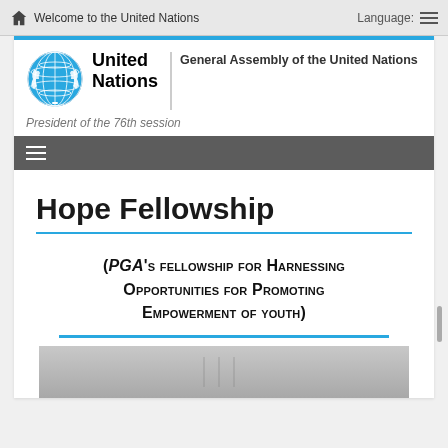Welcome to the United Nations   Language:
[Figure (logo): United Nations emblem logo in blue, circular globe with laurel branches]
United Nations | General Assembly of the United Nations
President of the 76th session
Hope Fellowship
(PGA's Fellowship for Harnessing Opportunities for Promoting Empowerment of Youth)
[Figure (photo): Partial photo of people at a UN event, bottom of page]